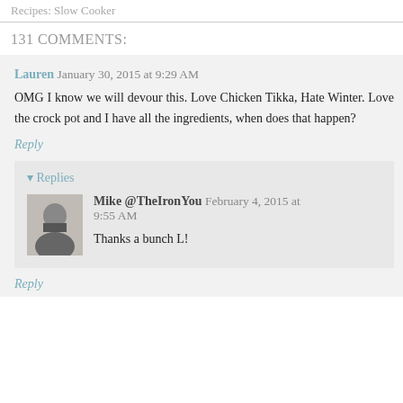Recipes: Slow Cooker
131 COMMENTS:
Lauren  January 30, 2015 at 9:29 AM
OMG I know we will devour this. Love Chicken Tikka, Hate Winter. Love the crock pot and I have all the ingredients, when does that happen?
Reply
▾ Replies
Mike @TheIronYou   February 4, 2015 at 9:55 AM
Thanks a bunch L!
Reply